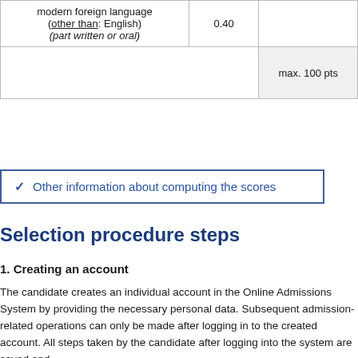|  |  |  |
| --- | --- | --- |
| modern foreign language (other than: English) (part written or oral) | 0.40 |  |
|  |  | max. 100 pts |
✓  Other information about computing the scores
Selection procedure steps
1. Creating an account
The candidate creates an individual account in the Online Admissions System by providing the necessary personal data. Subsequent admission-related operations can only be made after logging in to the created account. All steps taken by the candidate after logging into the system are saved and